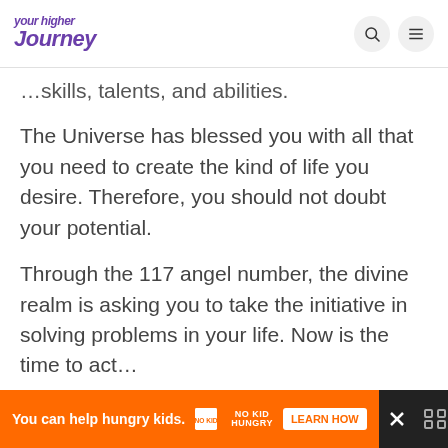your higher journey
skills, talents, and abilities.
The Universe has blessed you with all that you need to create the kind of life you desire. Therefore, you should not doubt your potential.
Through the 117 angel number, the divine realm is asking you to take the initiative in solving problems in your life. Now is the time to act…
You can help hungry kids. NO KID HUNGRY LEARN HOW